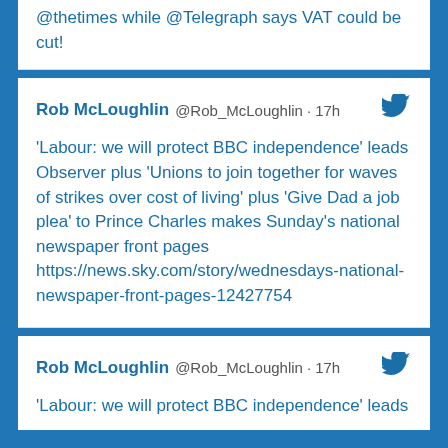@thetimes while @Telegraph says VAT could be cut!
Rob McLoughlin @Rob_McLoughlin · 17h
'Labour: we will protect BBC independence' leads Observer plus 'Unions to join together for waves of strikes over cost of living' plus 'Give Dad a job plea' to Prince Charles makes Sunday's national newspaper front pages https://news.sky.com/story/wednesdays-national-newspaper-front-pages-12427754
Rob McLoughlin @Rob_McLoughlin · 17h
'Labour: we will protect BBC independence' leads